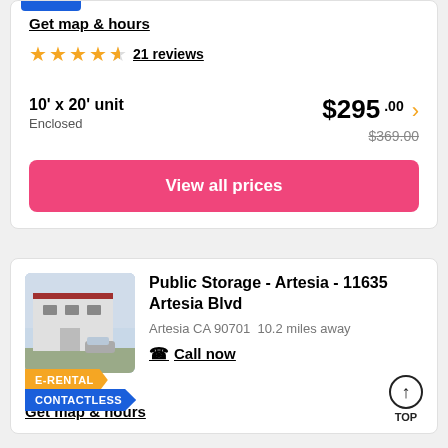Get map & hours
★★★★½  21 reviews
10' x 20' unit  $295.00  Enclosed  $369.00
View all prices
[Figure (photo): Exterior photo of Public Storage - Artesia facility building]
Public Storage - Artesia - 11635 Artesia Blvd
Artesia CA 90701  10.2 miles away
Call now
Get map & hours